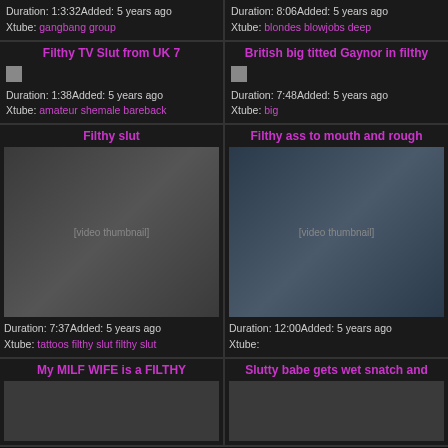Duration: 1:3:32Added: 5 years ago
Xtube: gangbang group
Duration: 8:06Added: 5 years ago
Xtube: blondes blowjobs deep
Filthy TV Slut from UK 7
British big titted Gaynor in filthy
Duration: 1:38Added: 5 years ago
Xtube: amateur shemale bareback
Duration: 7:48Added: 5 years ago
Xtube: big
Filthy slut
Filthy ass to mouth and rough
[Figure (photo): Video thumbnail showing two people]
[Figure (photo): Video thumbnail showing a person tied up]
Duration: 7:37Added: 5 years ago
Xtube: tattoos filthy slut filthy slut
Duration: 12:00Added: 5 years ago
Xtube:
My MILF WIFE is a FILTHY
Slutty babe gets wet snatch and
[Figure (photo): Video thumbnail partial]
[Figure (photo): Video thumbnail partial]